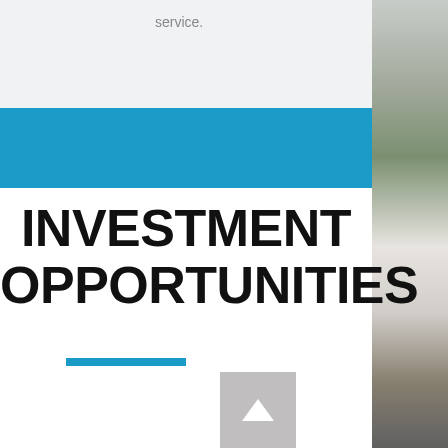service.
INVESTMENT OPPORTUNITIES